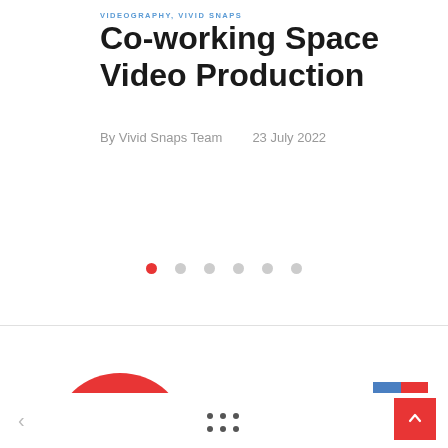VIDEOGRAPHY, VIVID SNAPS
Co-working Space Video Production
By Vivid Snaps Team    23 July 2022
[Figure (other): Carousel navigation dots — one red active dot followed by five grey dots]
[Figure (other): Partially visible red semicircle at bottom left, and partially visible blue/red reCAPTCHA widget at bottom right]
< navigation arrow left | grid dots icon | scroll to top button